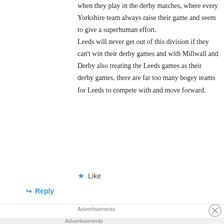when they play in the derby matches, where every Yorkshire team always raise their game and seem to give a superhuman effort. Leeds will never get out of this division if they can't win their derby games and with Millwall and Derby also treating the Leeds games as their derby games, there are far too many bogey teams for Leeds to compete with and move forward.
★ Like
↳ Reply
Advertisements
Advertisements
[Figure (infographic): Fandom on Tumblr advertisement banner with colorful orange, pink, and purple gradient background with decorative doodles and white text saying FANDOM ON tumblr]